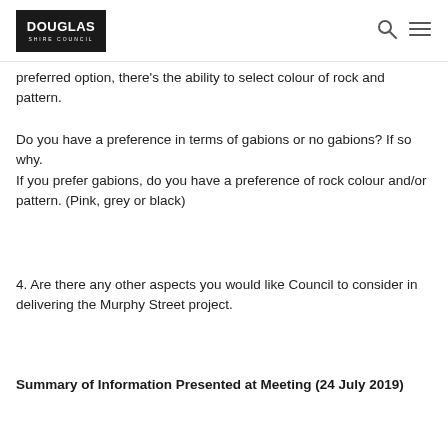Douglas Shire Council
preferred option, there's the ability to select colour of rock and pattern.
Do you have a preference in terms of gabions or no gabions? If so why.
If you prefer gabions, do you have a preference of rock colour and/or pattern. (Pink, grey or black)
4. Are there any other aspects you would like Council to consider in delivering the Murphy Street project.
Summary of Information Presented at Meeting (24 July 2019)